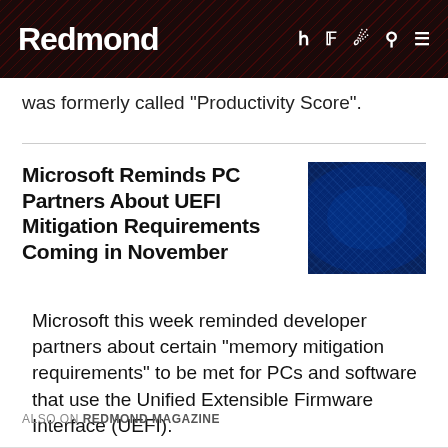Redmond
was formerly called "Productivity Score".
Microsoft Reminds PC Partners About UEFI Mitigation Requirements Coming in November
[Figure (photo): Close-up photo of a dark blue circuit board or mesh pattern with light reflections]
Microsoft this week reminded developer partners about certain "memory mitigation requirements" to be met for PCs and software that use the Unified Extensible Firmware Interface (UEFI).
ALSO ON REDMOND MAGAZINE